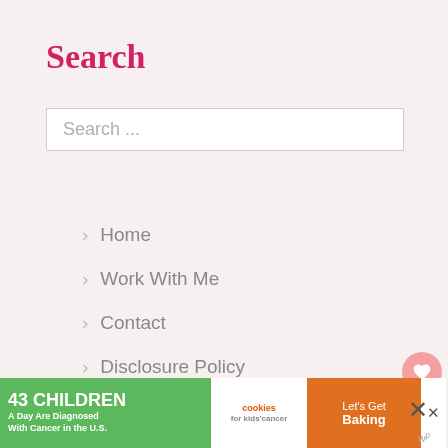Search
Search ...
Home
Work With Me
Contact
Disclosure Policy
Privacy Policy
[Figure (screenshot): Advertisement banner: '43 Children A Day Are Diagnosed With Cancer in the U.S.' with cookies for kids cancer and Let's Get Baking promotional graphic]